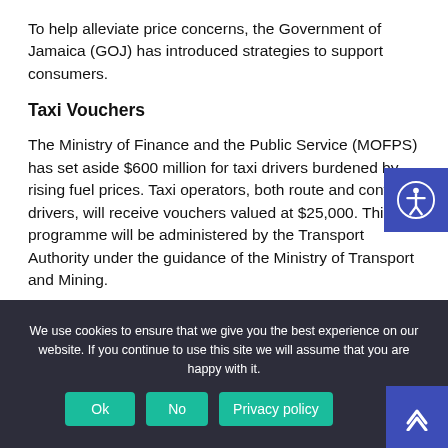To help alleviate price concerns, the Government of Jamaica (GOJ) has introduced strategies to support consumers.
Taxi Vouchers
The Ministry of Finance and the Public Service (MOFPS) has set aside $600 million for taxi drivers burdened by rising fuel prices. Taxi operators, both route and contract drivers, will receive vouchers valued at $25,000. This programme will be administered by the Transport Authority under the guidance of the Ministry of Transport and Mining.
We use cookies to ensure that we give you the best experience on our website. If you continue to use this site we will assume that you are happy with it.